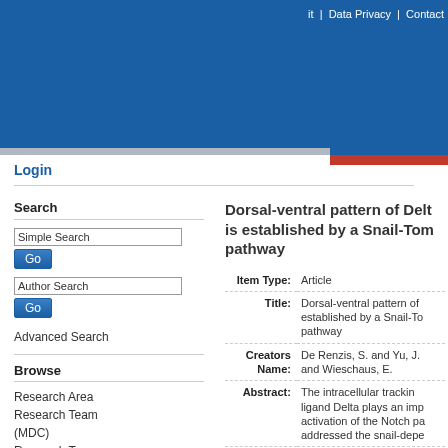it | Data Privacy | Contact
Login
Search
Simple Search
Go
Author Search
Go
Advanced Search
Browse
Research Area
Research Team (MDC)
Research Team
Dorsal-ventral pattern of Delt is established by a Snail-Tom pathway
| Field | Value |
| --- | --- |
| Item Type: | Article |
| Title: | Dorsal-ventral pattern of established by a Snail-To pathway |
| Creators Name: | De Renzis, S. and Yu, J. and Wieschaus, E. |
| Abstract: | The intracellular trackinkin ligand Delta plays an imp activation of the Notch pa addressed the snail-depe |